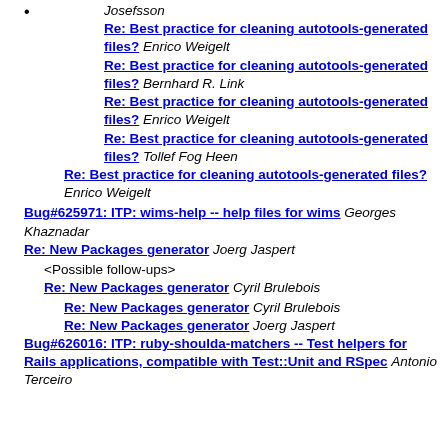Re: Best practice for cleaning autotools-generated files? Enrico Weigelt
Re: Best practice for cleaning autotools-generated files? Bernhard R. Link
Re: Best practice for cleaning autotools-generated files? Enrico Weigelt
Re: Best practice for cleaning autotools-generated files? Tollef Fog Heen
Re: Best practice for cleaning autotools-generated files? Enrico Weigelt
Bug#625971: ITP: wims-help -- help files for wims Georges Khaznadar
Re: New Packages generator Joerg Jaspert
<Possible follow-ups>
Re: New Packages generator Cyril Brulebois
Re: New Packages generator Cyril Brulebois
Re: New Packages generator Joerg Jaspert
Bug#626016: ITP: ruby-shoulda-matchers -- Test helpers for Rails applications, compatible with Test::Unit and RSpec Antonio Terceiro